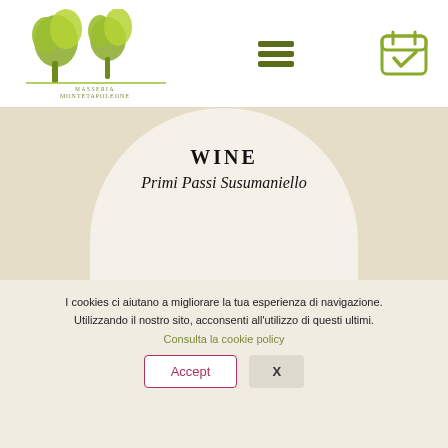[Figure (logo): Masseria Montetapoleone logo: two green olive/oak trees above a horizontal line with text 'MASSERIA MONTETAPOLEONE' in olive-green serif font]
[Figure (other): Hamburger menu icon: three horizontal olive-green bars]
[Figure (other): Calendar icon with checkmark in olive-green color]
WINE
Primi Passi Susumaniello
I cookies ci aiutano a migliorare la tua esperienza di navigazione. Utilizzando il nostro sito, acconsenti all'utilizzo di questi ultimi.
Consulta la cookie policy
Accept
X